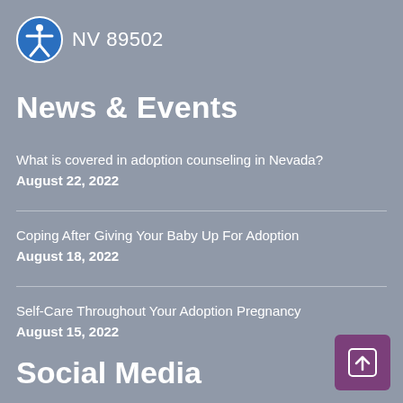NV 89502
News & Events
What is covered in adoption counseling in Nevada?
August 22, 2022
Coping After Giving Your Baby Up For Adoption
August 18, 2022
Self-Care Throughout Your Adoption Pregnancy
August 15, 2022
Social Media